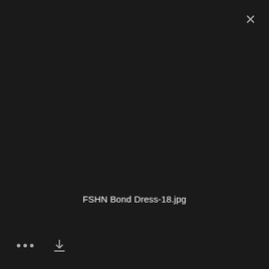[Figure (screenshot): Dark modal overlay showing a file preview screen with a close (X) button in the top-right corner, a filename label in the center-lower area, and bottom toolbar with a three-dot menu and a download icon.]
FSHN Bond Dress-18.jpg